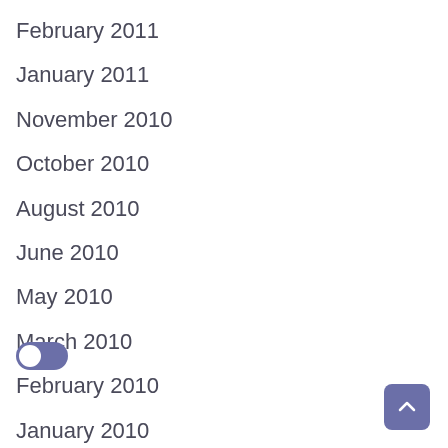February 2011
January 2011
November 2010
October 2010
August 2010
June 2010
May 2010
March 2010
February 2010
January 2010